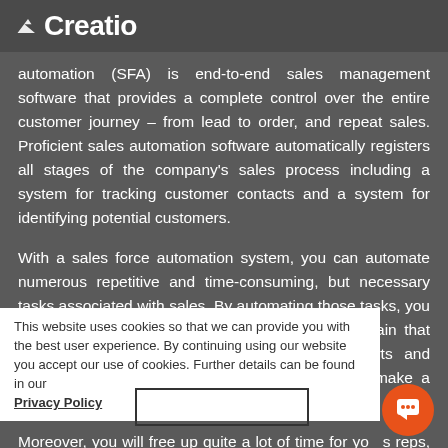Creatio
automation (SFA) is end-to-end sales management software that provides a complete control over the entire customer journey – from lead to order, and repeat sales. Proficient sales automation software automatically registers all stages of the company's sales process including a system for tracking customer contacts and a system for identifying potential customers.
With a sales force automation system, you can automate numerous repetitive and time-consuming, but necessary tasks associated with sales. By automating those tasks, you will eliminate the risk of human error and be certain that every piece of information, including vital reports and analytics, is always accurate, so you will never make a costly mistake.
This website uses cookies so that we can provide you with the best user experience. By continuing using our website you accept our use of cookies. Further details can be found in our Privacy Policy
Moreover, you will free up quite a lot of time for your reps, enabling them to do what they do best –